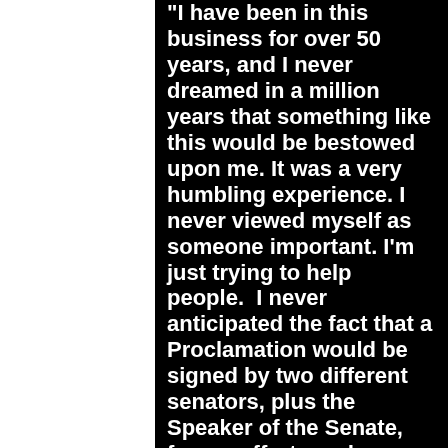"I have been in this business for over 50 years, and I never dreamed in a million years that something like this would be bestowed upon me. It was a very humbling experience. I never viewed myself as someone important. I'm just trying to help people.  I never anticipated the fact that a Proclamation would be signed by two different senators, plus the Speaker of the Senate, for my efforts and achievements throughout my career in the music business."
During a brief interview, I asked Keith to please expound on these accolades that set him apart from